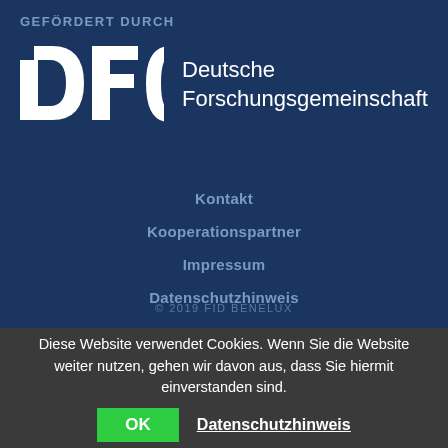GEFÖRDERT DURCH
[Figure (logo): DFG Deutsche Forschungsgemeinschaft logo on dark blue background]
Kontakt
Kooperationspartner
Impressum
Datenschutzhinweis
© 2019 FID BENELUX
Diese Website verwendet Cookies. Wenn Sie die Website weiter nutzen, gehen wir davon aus, dass Sie hiermit einverstanden sind.  OK  Datenschutzhinweis